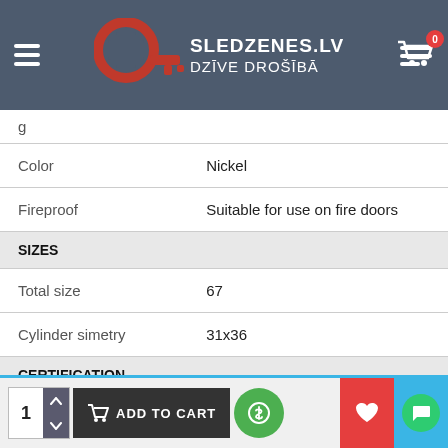SLEDZENES.LV DZĪVE DROŠĪBĀ
| Property | Value |
| --- | --- |
|  | g |
| Color | Nickel |
| Fireproof | Suitable for use on fire doors |
| SIZES |  |
| Total size | 67 |
| Cylinder simetry | 31x36 |
| CERTIFICATION |  |
| EN standard | EN 1303 |
| Category of use | Grade 1 (out of 1) - key resists a torque of 2.5Nm and still is usable |